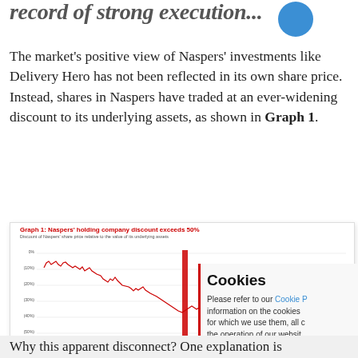record of strong execution...
The market's positive view of Naspers' investments like Delivery Hero has not been reflected in its own share price. Instead, shares in Naspers have traded at an ever-widening discount to its underlying assets, as shown in Graph 1.
[Figure (continuous-plot): Line chart showing the discount of Naspers' share price relative to the value of its underlying assets from 2013 to 2020. The y-axis shows percentages from 0% to (60%), and the line trends downward from about (10%) in 2013 to around (40-50%) by 2018-2020, with a red vertical bar near 2018.]
Why this apparent disconnect? One explanation is